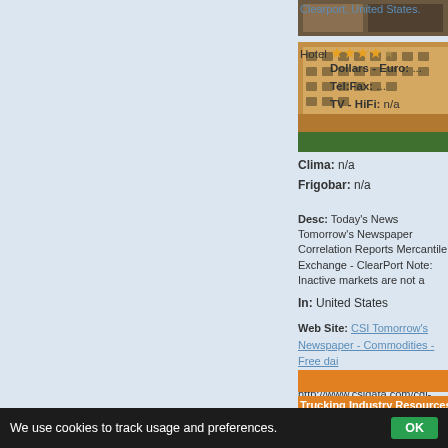[Figure (photo): Hotel building photo top, partially visible]
Clearport, United States.
[Figure (photo): Hotel building with multi-story orange/brown facade]
Hotel ★★★★☆
Dollars - Euro: ...
Tel:Fax: ...
TV - HiFi: n/a
Clima: n/a
Frigobar: n/a
Desc: Today's News Tomorrow's Newspaper Correlation Reports Mercantile Exchange - ClearPort Note: Inactive markets are not a
In: United States
Web Site: CSI Tomorrow's Newspaper - Commodities - Free dai
Web Link: http://www.csidata.com/cgi-bin/newspaperwrap.pl?file
[Figure (photo): Orange/yellow banner bar]
Trucking Industry Resources - Fu
[Figure (photo): Building with trees - Trucking Industry Resources listing]
Info: Trucking Industry Resources - Fuel Ma
Hotel ★☆☆☆☆
Dollars - Euro:
We use cookies to track usage and preferences.